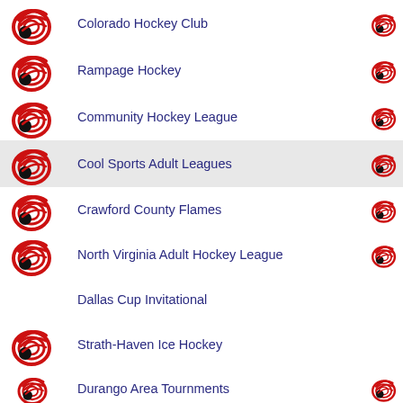Colorado Hockey Club
Rampage Hockey
Community Hockey League
Cool Sports Adult Leagues
Crawford County Flames
North Virginia Adult Hockey League
Dallas Cup Invitational
Strath-Haven Ice Hockey
Durango Area Tournments